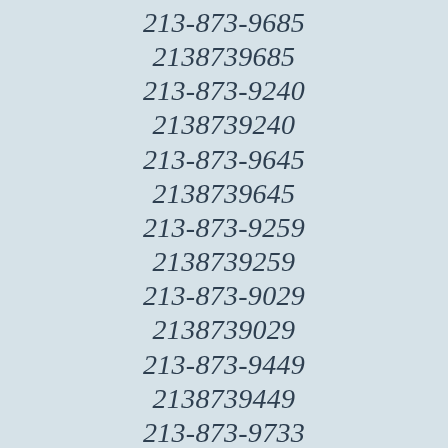213-873-9685
2138739685
213-873-9240
2138739240
213-873-9645
2138739645
213-873-9259
2138739259
213-873-9029
2138739029
213-873-9449
2138739449
213-873-9733
2138739733
213-873-9513
2138739513